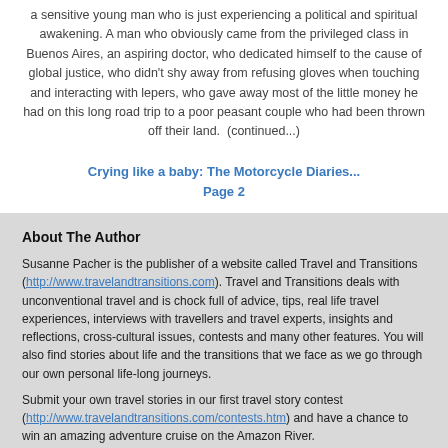a sensitive young man who is just experiencing a political and spiritual awakening. A man who obviously came from the privileged class in Buenos Aires, an aspiring doctor, who dedicated himself to the cause of global justice, who didn't shy away from refusing gloves when touching and interacting with lepers, who gave away most of the little money he had on this long road trip to a poor peasant couple who had been thrown off their land.  (continued...)
Crying like a baby: The Motorcycle Diaries... Page 2
About The Author
Susanne Pacher is the publisher of a website called Travel and Transitions (http://www.travelandtransitions.com). Travel and Transitions deals with unconventional travel and is chock full of advice, tips, real life travel experiences, interviews with travellers and travel experts, insights and reflections, cross-cultural issues, contests and many other features. You will also find stories about life and the transitions that we face as we go through our own personal life-long journeys.
Submit your own travel stories in our first travel story contest (http://www.travelandtransitions.com/contests.htm) and have a chance to win an amazing adventure cruise on the Amazon River.
"Life is a Journey Explore New Horizons".
The story with photos is published at Travel and Transitions – Insights and